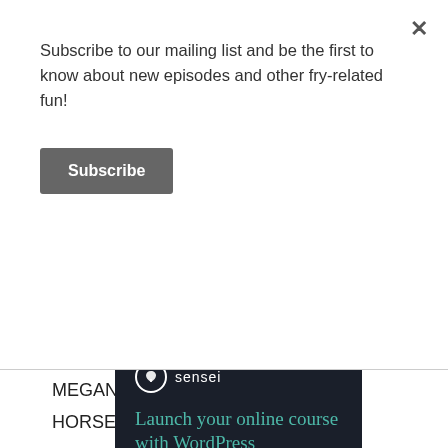Subscribe to our mailing list and be the first to know about new episodes and other fry-related fun!
Subscribe
MEGAN: Oh!
HORSE: [neighs]
MEGAN: I didn't know that. Like literally?
Advertisements
[Figure (infographic): Sensei advertisement: dark navy background with Sensei logo (tree in circle) and text 'Launch your online course with WordPress']